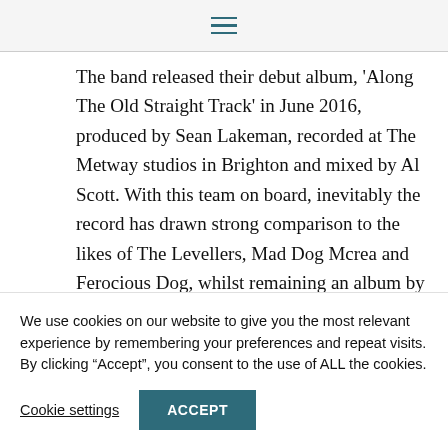≡
The band released their debut album, 'Along The Old Straight Track' in June 2016, produced by Sean Lakeman, recorded at The Metway studios in Brighton and mixed by Al Scott. With this team on board, inevitably the record has drawn strong comparison to the likes of The Levellers, Mad Dog Mcrea and Ferocious Dog, whilst remaining an album by a band
We use cookies on our website to give you the most relevant experience by remembering your preferences and repeat visits. By clicking "Accept", you consent to the use of ALL the cookies.
Cookie settings    ACCEPT